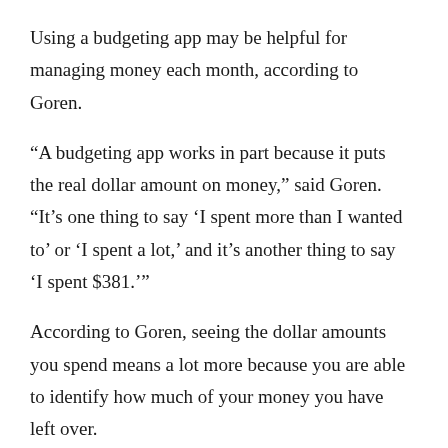Using a budgeting app may be helpful for managing money each month, according to Goren.
“A budgeting app works in part because it puts the real dollar amount on money,” said Goren. “It’s one thing to say ‘I spent more than I wanted to’ or ‘I spent a lot,’ and it’s another thing to say ‘I spent $381.’”
According to Goren, seeing the dollar amounts you spend means a lot more because you are able to identify how much of your money you have left over.
Additionally, Goren suggested finding the heart of the spending problem.